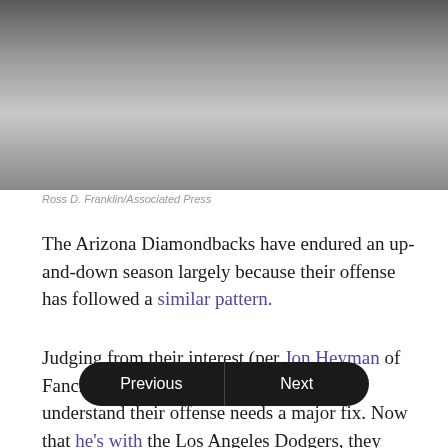[Figure (photo): Blurred photograph of a person, likely a baseball player, with dark and light tones]
Ross D. Franklin/Associated Press
The Arizona Diamondbacks have endured an up-and-down season largely because their offense has followed a similar pattern.
Judging from their interest (per Jon Heyman of Fancred) in Manny Machado, the D-backs understand their offense needs a major fix. Now that he's with the Los Angeles Dodgers, they should be feeling even more pressure to add an impact hitter.
The Snakes can... ngerous as Machado. But whether it's J.T. Realmuto, Brian Dozier,
Previous | Next